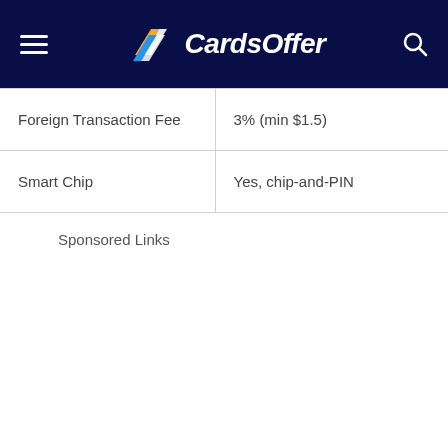CardsOffer
| Foreign Transaction Fee | 3% (min $1.5) |
| Smart Chip | Yes, chip-and-PIN |
Sponsored Links